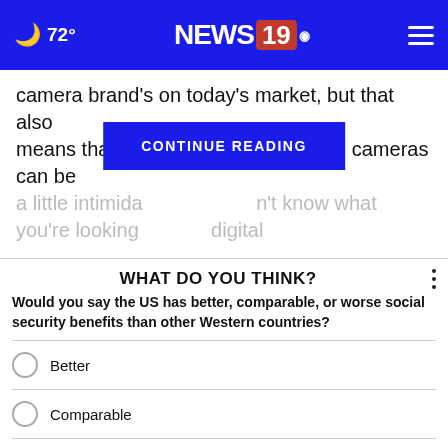72° NEWS 19
camera brand's on today's market, but that also means that their high-tier, high-priced cameras can be a little intimidating if you don't know what you're looking for in a digital
CONTINUE READING
WHAT DO YOU THINK?
Would you say the US has better, comparable, or worse social security benefits than other Western countries?
Better
Comparable
Worse
I'm not sure